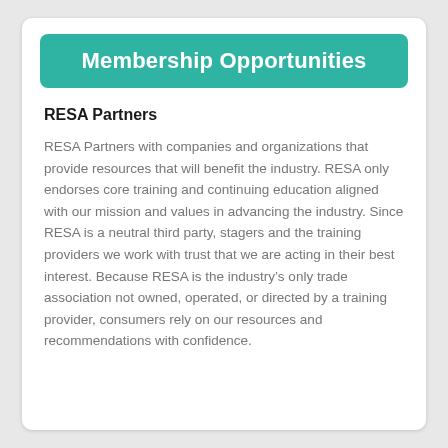Membership Opportunities
RESA Partners
RESA Partners with companies and organizations that provide resources that will benefit the industry. RESA only endorses core training and continuing education aligned with our mission and values in advancing the industry. Since RESA is a neutral third party, stagers and the training providers we work with trust that we are acting in their best interest. Because RESA is the industry’s only trade association not owned, operated, or directed by a training provider, consumers rely on our resources and recommendations with confidence.